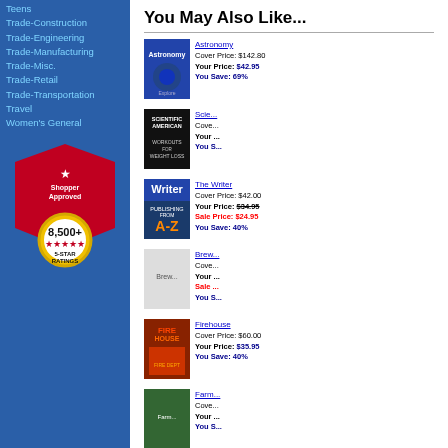Teens
Trade-Construction
Trade-Engineering
Trade-Manufacturing
Trade-Misc.
Trade-Retail
Trade-Transportation
Travel
Women's General
[Figure (logo): Shopper Approved badge with 8,500+ 5-star ratings]
You May Also Like...
Astronomy
Cover Price: $142.80
Your Price: $42.95
You Save: 69%
The Writer
Cover Price: $42.00
Your Price: $34.95
Sale Price: $24.95
You Save: 40%
Firehouse
Cover Price: $60.00
Your Price: $35.95
You Save: 40%
Thrasher Magazine
Cover Price: $59.88
Your Price: $29.95
Sale Price: $21.95
You Save: 63%
Good Old Days
Cover Price: $35.94